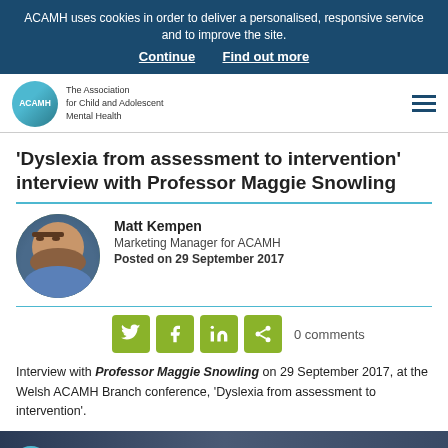ACAMH uses cookies in order to deliver a personalised, responsive service and to improve the site. Continue | Find out more
[Figure (logo): ACAMH logo — circular teal logo with ACAMH text, alongside text 'The Association for Child and Adolescent Mental Health']
‘Dyslexia from assessment to intervention’ interview with Professor Maggie Snowling
Matt Kempen
Marketing Manager for ACAMH
Posted on 29 September 2017
[Figure (photo): Circular portrait photo of Matt Kempen, a man with a beard wearing a blue jacket]
0 comments
Interview with Professor Maggie Snowling on 29 September 2017, at the Welsh ACAMH Branch conference, ‘Dyslexia from assessment to intervention’.
[Figure (screenshot): Video thumbnail showing ACAMH logo and title 'Professor Maggie Snowling Full Interview Dysl' on dark blue background]